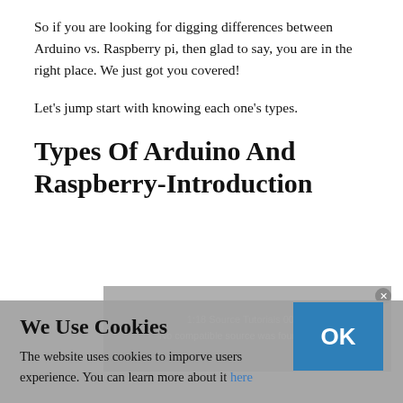So if you are looking for digging differences between Arduino vs. Raspberry pi, then glad to say, you are in the right place. We just got you covered!
Let's jump start with knowing each one's types.
Types Of Arduino And Raspberry-Introduction
[Figure (screenshot): A grey video player placeholder with text 'No compatible source was found for this' and a timer overlay, with a close (x) button in the top right corner.]
We Use Cookies
The website uses cookies to imporve users experience. You can learn more about it here